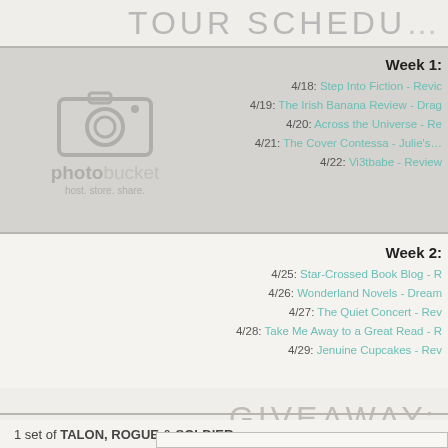TOUR SCHEDULE
Week 1:
4/18: Step Into Fiction - Revi…
4/19: The Irish Banana Review - Drag…
4/20: Across the Universe - Re…
4/21: The Cover Contessa - Julie's…
4/22: Vi3tbabe - Review…
Week 2:
4/25: Star-Crossed Book Blog - R…
4/26: Wonderland Novels - Dream…
4/27: The Quiet Concert - Rev…
4/28: Take Me Away to a Great Read - R…
4/29: Jenuine Cupcakes - Rev…
GIVEAWAY:
1 set of TALON, ROGUE & SOLDIER…